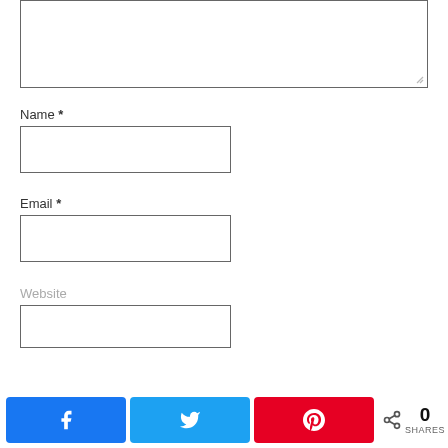[Figure (screenshot): Textarea input box (comment form field), partially shown at top of page, with resize handle at bottom-right corner]
Name *
[Figure (screenshot): Name input field (empty text box)]
Email *
[Figure (screenshot): Email input field (empty text box)]
Website
[Figure (screenshot): Website input field (empty text box, partially shown)]
[Figure (screenshot): Social share bar with Facebook, Twitter, and Pinterest share buttons, and a share count showing 0 SHARES]